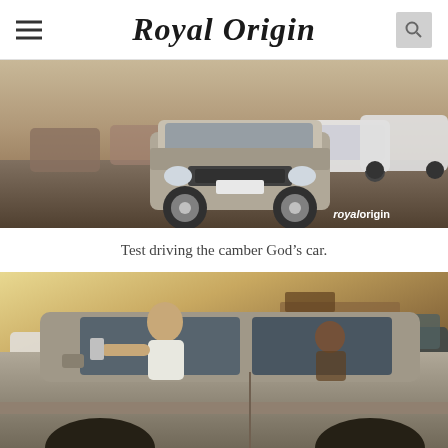Royal Origin
[Figure (photo): Silver lowered Lincoln Continental with aggressive camber parked in a lot surrounded by other modified cars including white sports cars, with royalorigin watermark in bottom right corner.]
Test driving the camber God’s car.
[Figure (photo): Person leaning out the driver window of a silver lowered sedan in a parking lot, holding a camera/phone, with another person visible in the passenger seat. Suburban buildings and other cars visible in the background.]